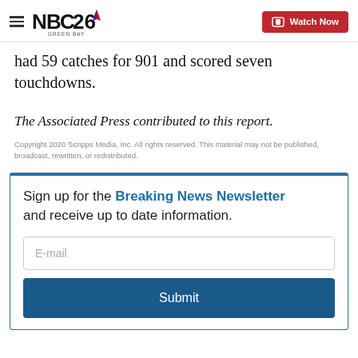NBC26 Green Bay — Watch Now
had 59 catches for 901 and scored seven touchdowns.
The Associated Press contributed to this report.
Copyright 2020 Scripps Media, Inc. All rights reserved. This material may not be published, broadcast, rewritten, or redistributed.
Sign up for the Breaking News Newsletter and receive up to date information.